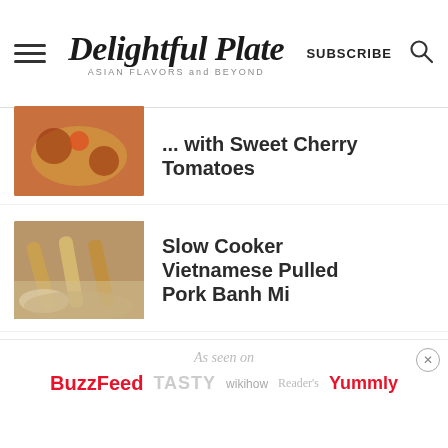Delightful Plate — ASIAN FLAVORS and BEYOND — SUBSCRIBE
with Sweet Cherry Tomatoes
Slow Cooker Vietnamese Pulled Pork Banh Mi
Easy Baked Shrimp Toast
As seen on — BuzzFeed TASTY wikihow Reader's Yummly